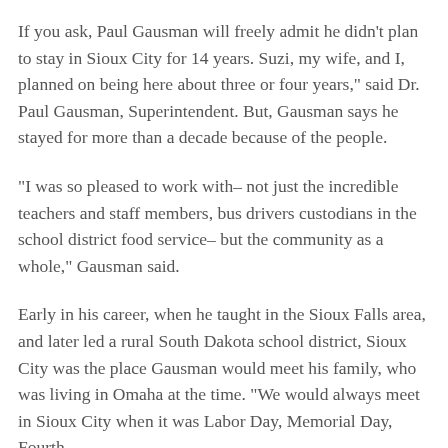If you ask, Paul Gausman will freely admit he didn't plan to stay in Sioux City for 14 years. Suzi, my wife, and I, planned on being here about three or four years," said Dr. Paul Gausman, Superintendent. But, Gausman says he stayed for more than a decade because of the people.
“I was so pleased to work with– not just the incredible teachers and staff members, bus drivers custodians in the school district food service– but the community as a whole,” Gausman said.
Early in his career, when he taught in the Sioux Falls area, and later led a rural South Dakota school district, Sioux City was the place Gausman would meet his family, who was living in Omaha at the time. “We would always meet in Sioux City when it was Labor Day, Memorial Day, Fourth